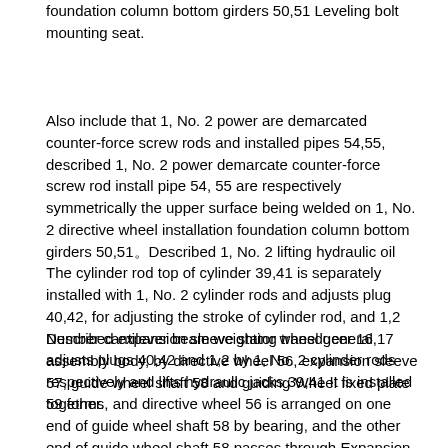foundation column bottom girders 50,51 Leveling bolt mounting seat.
Also include that 1, No. 2 power are demarcated counter-force screw rods and installed pipes 54,55, described 1, No. 2 power demarcate counter-force screw rod install pipe 54, 55 are respectively symmetrically the upper surface being welded on 1, No. 2 directive wheel installation foundation column bottom girders 50,51。Described 1, No. 2 lifting hydraulic oil The cylinder rod top of cylinder 39,41 is separately installed with 1, No. 2 cylinder rods and adjusts plug 40,42, for adjusting the stroke of cylinder rod, and 1,2 Number cantilever beam weighting transducer 16,17 adjusts plugs 40,42 and 1,2 by 1, No. 2 cylinder rods respectively and lifts hydraulic jacks 39,41 It is installed together.
Described expansion sleeve stator wheel general assembly body, by directive wheel 56, expansion sleeve 57, guide wheel shaft 58 and guiding Wheel fixed plate 59 forms, and directive wheel 56 is arranged on one end of guide wheel shaft 58 by bearing, and the other end of guide wheel shaft 58 passes through Expansion sleeve 57 is